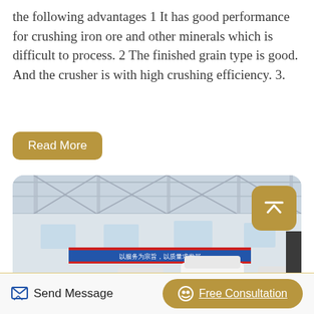the following advantages 1 It has good performance for crushing iron ore and other minerals which is difficult to process. 2 The finished grain type is good. And the crusher is with high crushing efficiency. 3.
Read More
[Figure (photo): Industrial factory interior showing multiple large white vertical crusher/grinding machines with red bases, arranged in a row. Chinese text banner visible on the wall in the background. Large warehouse-style building with steel framework ceiling.]
Send Message
Free Consultation